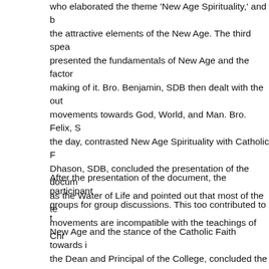who elaborated the theme 'New Age Spirituality,' and brought out the attractive elements of the New Age. The third speaker presented the fundamentals of New Age and the factors making of it. Bro. Benjamin, SDB then dealt with the outgoing movements towards God, World, and Man. Bro. Felix, SDB closed the day, contrasted New Age Spirituality with Catholic Faith. Fr. Dhason, SDB, concluded the presentation of the document Jesus as the Water of Life and pointed out that most of the tenets and movements are incompatible with the teachings of Christianity.
After the presentation of the document, the participants split into groups for group discussions. This too contributed to the grasp of New Age and the stance of the Catholic Faith towards it. Fr. Rector, the Dean and Principal of the College, concluded the session with gratitude.